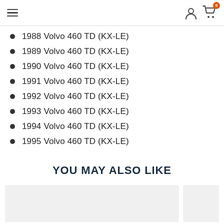Navigation header with hamburger menu, user icon, and cart (0)
1988 Volvo 460 TD (KX-LE)
1989 Volvo 460 TD (KX-LE)
1990 Volvo 460 TD (KX-LE)
1991 Volvo 460 TD (KX-LE)
1992 Volvo 460 TD (KX-LE)
1993 Volvo 460 TD (KX-LE)
1994 Volvo 460 TD (KX-LE)
1995 Volvo 460 TD (KX-LE)
YOU MAY ALSO LIKE
[Figure (other): Two product card placeholders (grey rectangles) shown below the 'YOU MAY ALSO LIKE' heading]